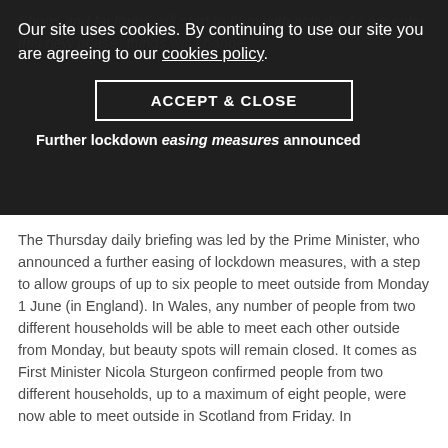Shops and factories will start to hum with activity. As we enter this new phase, things will change."
Our site uses cookies. By continuing to use our site you are agreeing to our cookies policy.
ACCEPT & CLOSE
Further lockdown easing measures announced
The Thursday daily briefing was led by the Prime Minister, who announced a further easing of lockdown measures, with a step to allow groups of up to six people to meet outside from Monday 1 June (in England). In Wales, any number of people from two different households will be able to meet each other outside from Monday, but beauty spots will remain closed. It comes as First Minister Nicola Sturgeon confirmed people from two different households, up to a maximum of eight people, were now able to meet outside in Scotland from Friday. In